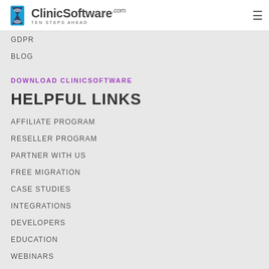ClinicSoftware.com — TEN STEPS AHEAD
GDPR
BLOG
DOWNLOAD CLINICSOFTWARE
HELPFUL LINKS
AFFILIATE PROGRAM
RESELLER PROGRAM
PARTNER WITH US
FREE MIGRATION
CASE STUDIES
INTEGRATIONS
DEVELOPERS
EDUCATION
WEBINARS
AGENCIES
CONTACT